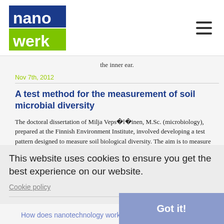[Figure (logo): Nanowerk logo - blue and green block text]
the inner ear.
Nov 7th, 2012
A test method for the measurement of soil microbial diversity
The doctoral dissertation of Milja Vepsäläinen, M.Sc. (microbiology), prepared at the Finnish Environment Institute, involved developing a test pattern designed to measure soil biological diversity. The aim is to measure the activity potential of enzymes produced by soil microbes.
Nov 7th, 2012
This website uses cookies to ensure you get the best experience on our website.
Cookie policy
Got it!
How does nanotechnology work?